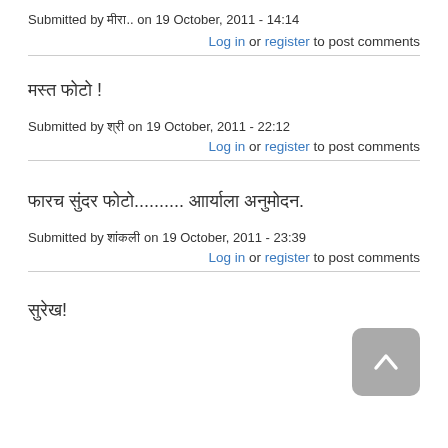Submitted by मीरा.. on 19 October, 2011 - 14:14
Log in or register to post comments
मस्त फोटो !
Submitted by श्री on 19 October, 2011 - 22:12
Log in or register to post comments
फारच सुंदर फोटो.......... आार्याला अनुमोदन.
Submitted by शांकली on 19 October, 2011 - 23:39
Log in or register to post comments
सुरेख!